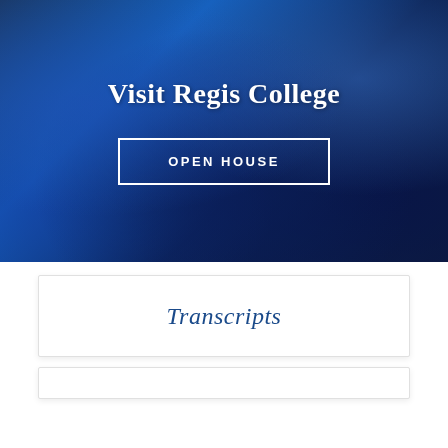[Figure (photo): Blue-tinted blurred photo of a crowd of people, used as a hero banner background for Regis College website]
Visit Regis College
OPEN HOUSE
Transcripts